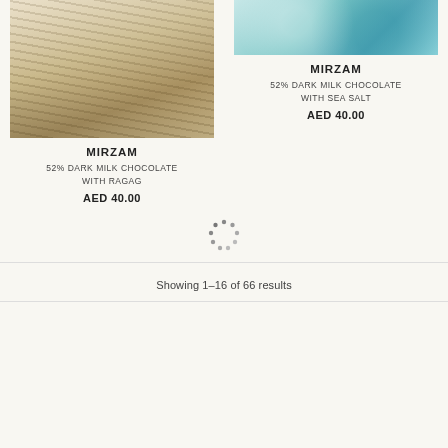[Figure (photo): Mirzam 52% dark milk chocolate with ragag bar, wavy layered texture on marble surface]
MIRZAM
52% DARK MILK CHOCOLATE WITH RAGAG
AED 40.00
[Figure (photo): Mirzam 52% dark milk chocolate with sea salt bar, teal decorative pattern on marble surface]
MIRZAM
52% DARK MILK CHOCOLATE WITH SEA SALT
AED 40.00
[Figure (other): Loading spinner dots in circular arrangement]
Showing 1–16 of 66 results